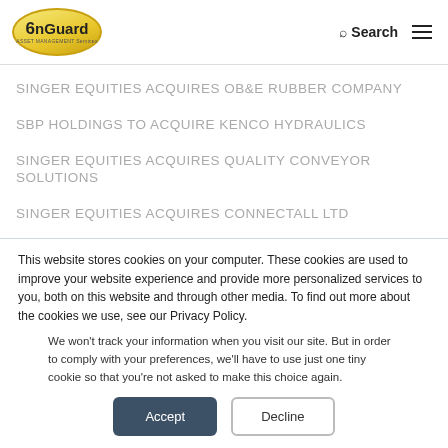OnGuard Asset Management - Search - Menu
SINGER EQUITIES ACQUIRES OB&E RUBBER COMPANY
SBP HOLDINGS TO ACQUIRE KENCO HYDRAULICS
SINGER EQUITIES ACQUIRES QUALITY CONVEYOR SOLUTIONS
SINGER EQUITIES ACQUIRES CONNECTALL LTD
This website stores cookies on your computer. These cookies are used to improve your website experience and provide more personalized services to you, both on this website and through other media. To find out more about the cookies we use, see our Privacy Policy.
We won't track your information when you visit our site. But in order to comply with your preferences, we'll have to use just one tiny cookie so that you're not asked to make this choice again.